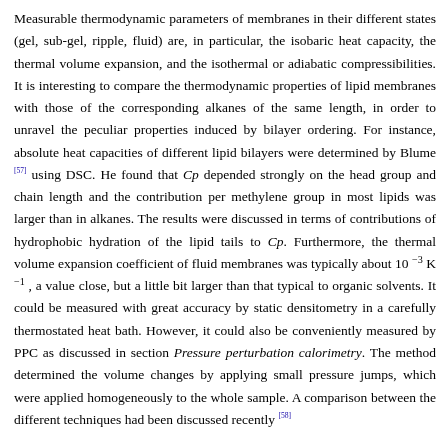Measurable thermodynamic parameters of membranes in their different states (gel, sub-gel, ripple, fluid) are, in particular, the isobaric heat capacity, the thermal volume expansion, and the isothermal or adiabatic compressibilities. It is interesting to compare the thermodynamic properties of lipid membranes with those of the corresponding alkanes of the same length, in order to unravel the peculiar properties induced by bilayer ordering. For instance, absolute heat capacities of different lipid bilayers were determined by Blume [57] using DSC. He found that Cp depended strongly on the head group and chain length and the contribution per methylene group in most lipids was larger than in alkanes. The results were discussed in terms of contributions of hydrophobic hydration of the lipid tails to Cp. Furthermore, the thermal volume expansion coefficient of fluid membranes was typically about 10^-3 K^-1 , a value close, but a little bit larger than that typical to organic solvents. It could be measured with great accuracy by static densitometry in a carefully thermostated heat bath. However, it could also be conveniently measured by PPC as discussed in section Pressure perturbation calorimetry. The method determined the volume changes by applying small pressure jumps, which were applied homogeneously to the whole sample. A comparison between the different techniques had been discussed recently [58]